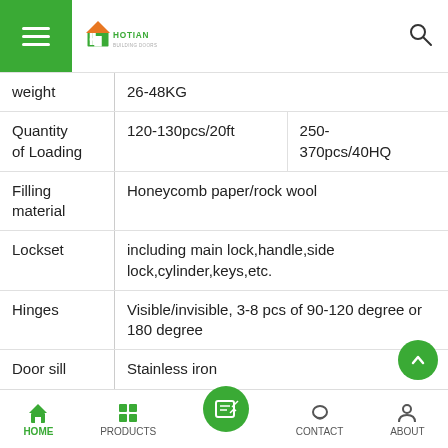HOTIAN — navigation header with logo, hamburger menu, and search icon
| Property | Value | Value2 |
| --- | --- | --- |
| weight | 26-48KG |  |
| Quantity of Loading | 120-130pcs/20ft | 250-370pcs/40HQ |
| Filling material | Honeycomb paper/rock wool |  |
| Lockset | including main lock,handle,side lock,cylinder,keys,etc. |  |
| Hinges | Visible/invisible, 3-8 pcs of 90-120 degree or 180 degree |  |
| Door sill | Stainless iron |  |
| Size available | As requirement |  |
| Package | Carton standard export package |  |
HOME | PRODUCTS | [center button] | CONTACT | ABOUT